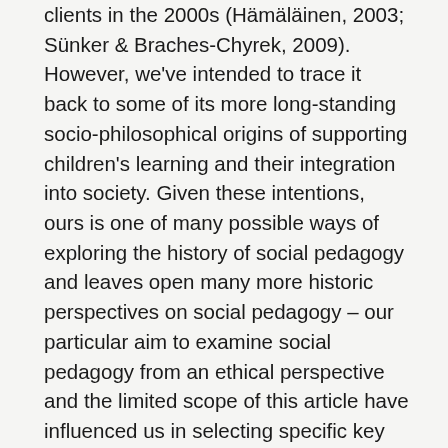clients in the 2000s (Hämäläinen, 2003; Sünker & Braches-Chyrek, 2009). However, we've intended to trace it back to some of its more long-standing socio-philosophical origins of supporting children's learning and their integration into society. Given these intentions, ours is one of many possible ways of exploring the history of social pedagogy and leaves open many more historic perspectives on social pedagogy – our particular aim to examine social pedagogy from an ethical perspective and the limited scope of this article have influenced us in selecting specific key thinkers and their ideas. Whilst no historic account of social pedagogy could ever be definitive and encompass its entire complexity, we believe that history offers many insights and provokes questions that would not occur otherwise. Lorenz (2008) reminds us that 'only by exploring the historical roots and trajectories of methods paradigms can we hope to understand their contemporary, cross-national and cross-